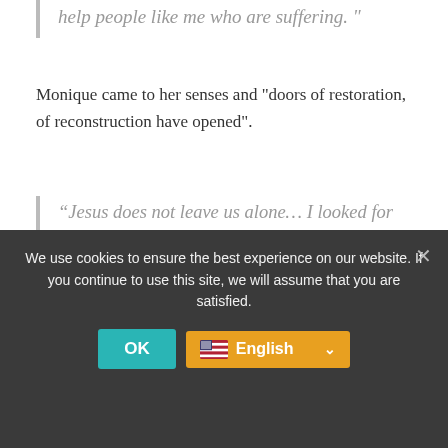help people like me who are suffering."
Monique came to her senses and "doors of restoration, of reconstruction have opened".
“Jesus does not leave us alone… I looked for my heavenly father who takes care of the widow and the orphan…. Without Jesus, I would not have survived both tragedies. "
[Figure (screenshot): Video thumbnail showing a person and YouTube-style title bar with text 'Monique Lépine - Je suis de...' and channel name]
We use cookies to ensure the best experience on our website. If you continue to use this site, we will assume that you are satisfied.